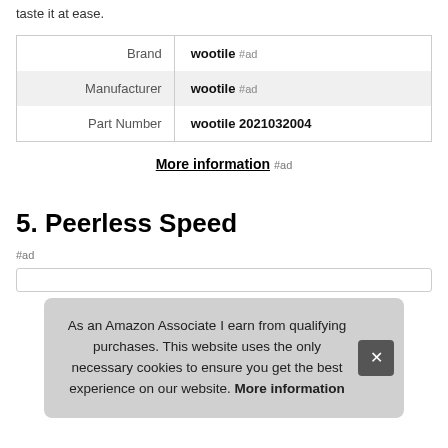taste it at ease.
|  |  |
| --- | --- |
| Brand | wootile #ad |
| Manufacturer | wootile #ad |
| Part Number | wootile 2021032004 |
More information #ad
5. Peerless Speed
#ad
As an Amazon Associate I earn from qualifying purchases. This website uses the only necessary cookies to ensure you get the best experience on our website. More information